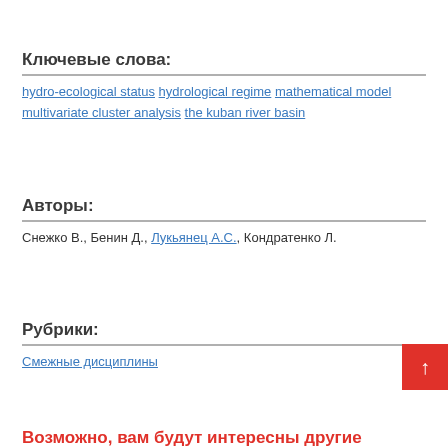Ключевые слова:
hydro-ecological status hydrological regime mathematical model multivariate cluster analysis the kuban river basin
Авторы:
Снежко В., Бенин Д., Лукьянец А.С., Кондратенко Л.
Рубрики:
Смежные дисциплины
Возможно, вам будут интересны другие